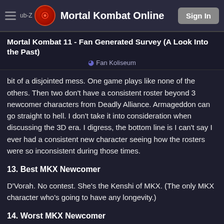Mortal Kombat Online | Sign In
Mortal Kombat 11 - Fan Generated Survey (A Look Into the Past)
Fan Koliseum
bit of a disjointed mess. One game plays like none of the others. Then two don't have a consistent roster beyond 3 newcomer characters from Deadly Alliance. Armageddon can go straight to hell. I don't take it into consideration when discussing the 3D era. I digress, the bottom line is I can't say I ever had a consistent new character seeing how the rosters were so inconsistent during those times.
13. Best MKX Newcomer
D'Vorah. No contest. She's the Kenshi of MKX. (The only MKX character who's going to have any longevity.)
14. Worst MKX Newcomer
Throw a dart! Okay, okay I won't be that difficult. Kotal